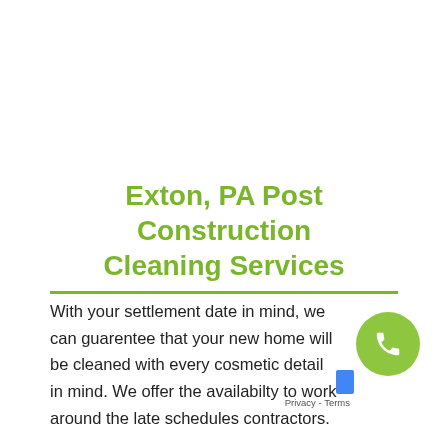Exton, PA Post Construction Cleaning Services
With your settlement date in mind, we can guarentee that your new home will be cleaned with every cosmetic detail in mind. We offer the availabilty to work around the late schedules contractors.
[Figure (other): Green circular phone button (call to action) and reCAPTCHA badge with Privacy - Terms footer text]